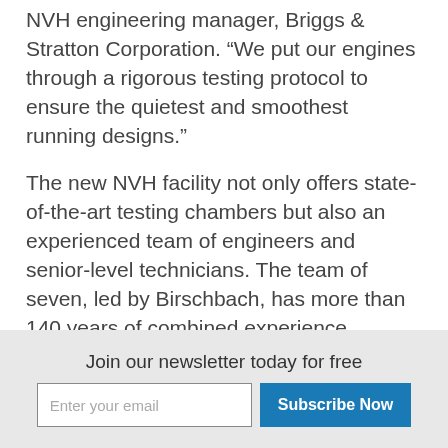NVH engineering manager, Briggs & Stratton Corporation. “We put our engines through a rigorous testing protocol to ensure the quietest and smoothest running designs.”
The new NVH facility not only offers state-of-the-art testing chambers but also an experienced team of engineers and senior-level technicians. The team of seven, led by Birschbach, has more than 140 years of combined experience. Birschbach has more than 15 years of NVH experience with direct experience in NVH testing in the automotive industry.
The equipment and software used in the new facility
Join our newsletter today for free
Enter your email | Subscribe Now